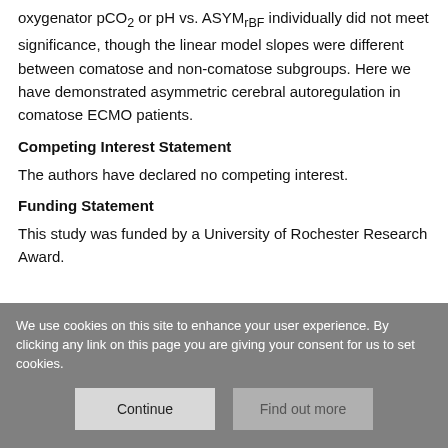oxygenator pCO2 or pH vs. ASYMrBF individually did not meet significance, though the linear model slopes were different between comatose and non-comatose subgroups. Here we have demonstrated asymmetric cerebral autoregulation in comatose ECMO patients.
Competing Interest Statement
The authors have declared no competing interest.
Funding Statement
This study was funded by a University of Rochester Research Award.
We use cookies on this site to enhance your user experience. By clicking any link on this page you are giving your consent for us to set cookies.